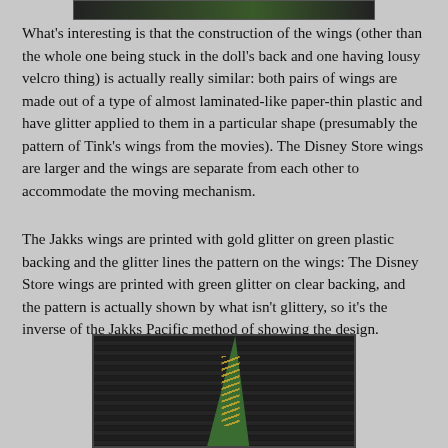[Figure (photo): Top portion of a photo showing dark background, partially visible]
What’s interesting is that the construction of the wings (other than the whole one being stuck in the doll’s back and one having lousy velcro thing) is actually really similar: both pairs of wings are made out of a type of almost laminated-like paper-thin plastic and have glitter applied to them in a particular shape (presumably the pattern of Tink’s wings from the movies). The Disney Store wings are larger and the wings are separate from each other to accommodate the moving mechanism.
The Jakks wings are printed with gold glitter on green plastic backing and the glitter lines the pattern on the wings: The Disney Store wings are printed with green glitter on clear backing, and the pattern is actually shown by what isn’t glittery, so it’s the inverse of the Jakks Pacific method of showing the design.
[Figure (photo): Close-up photo of a green fairy wing with gold glitter pattern on dark striped background]